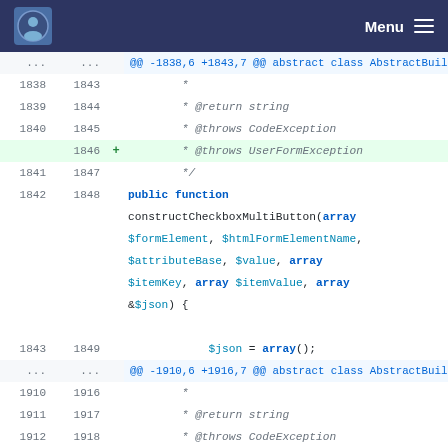Menu
[Figure (screenshot): Git diff view of PHP code showing changes to AbstractBuildForm class. Lines 1838-1849 and 1910-1919 are shown. A new line '* @throws UserFormException' is added at line 1846 and 1919.]